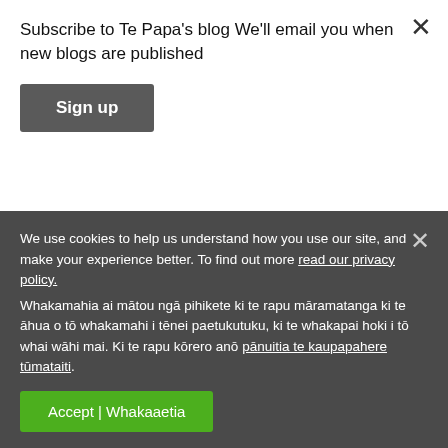Subscribe to Te Papa's blog We'll email you when new blogs are published
Sign up
search on solanum nigrum and polyphenols or flavenols you will find that the plant has many health benefits. However, just as one can be allergic to strawberries, tomatoes or just about anything, it always pays to start cautiously with
We use cookies to help us understand how you use our site, and make your experience better. To find out more read our privacy policy. Whakamahia ai mātou ngā pihikete ki te rapu māramatanga ki te āhua o tō whakamahi i tēnei paetukutuku, ki te whakapai hoki i tō whai wāhi mai. Ki te rapu kōrero anō pānuitia te kaupapahere tūmataiti.
Accept | Whakaaetia